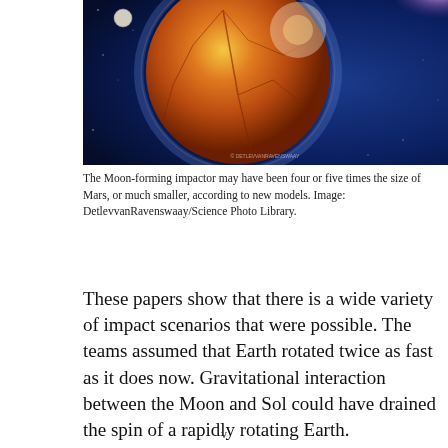[Figure (illustration): Artistic illustration of a planet impact event — an orange-brown rocky planet with cracks against a deep blue space background, with a bright light source and a small white moon visible]
The Moon-forming impactor may have been four or five times the size of Mars, or much smaller, according to new models. Image: DetlevvanRavenswaay/Science Photo Library.
These papers show that there is a wide variety of impact scenarios that were possible. The teams assumed that Earth rotated twice as fast as it does now. Gravitational interaction between the Moon and Sol could have drained the spin of a rapidly rotating Earth.
Robin Canup, one of the originators of the Mars-sized
v